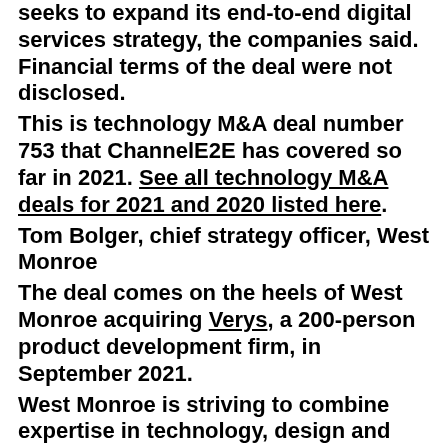seeks to expand its end-to-end digital services strategy, the companies said. Financial terms of the deal were not disclosed.
This is technology M&A deal number 753 that ChannelE2E has covered so far in 2021. See all technology M&A deals for 2021 and 2020 listed here.
Tom Bolger, chief strategy officer, West Monroe
The deal comes on the heels of West Monroe acquiring Verys, a 200-person product development firm, in September 2021.
West Monroe is striving to combine expertise in technology, design and